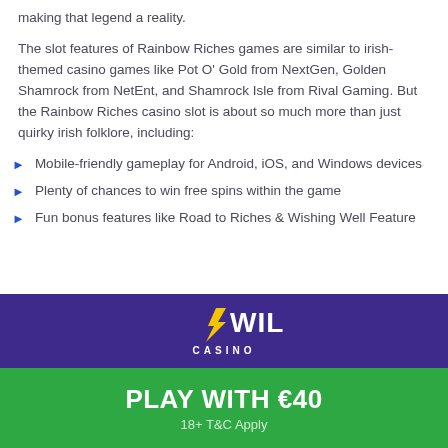making that legend a reality.
The slot features of Rainbow Riches games are similar to irish-themed casino games like Pot O' Gold from NextGen, Golden Shamrock from NetEnt, and Shamrock Isle from Rival Gaming. But the Rainbow Riches casino slot is about so much more than just quirky irish folklore, including:
Mobile-friendly gameplay for Android, iOS, and Windows devices
Plenty of chances to win free spins within the game
Fun bonus features like Road to Riches & Wishing Well Feature
[Figure (logo): Wildz Casino logo on purple background with yellow and white stylized text]
PLAY WITH €40
18+ T&C Apply